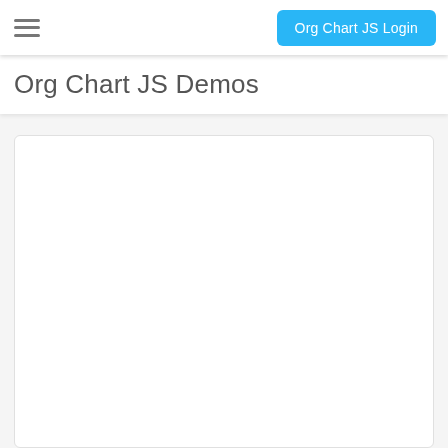Org Chart JS Login
Org Chart JS Demos
[Figure (other): Empty white content area with rounded border, representing an org chart demo container]